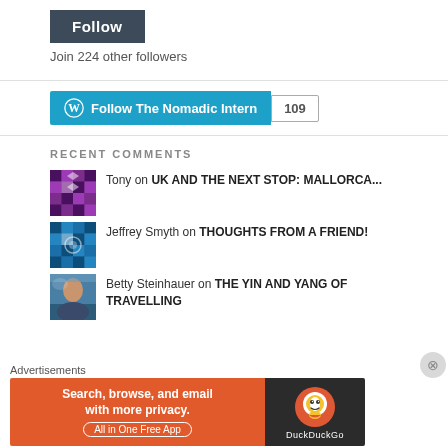Follow
Join 224 other followers
[Figure (other): WordPress Follow The Nomadic Intern button with count 109]
RECENT COMMENTS
Tony on UK AND THE NEXT STOP: MALLORCA...
Jeffrey Smyth on THOUGHTS FROM A FRIEND!
Betty Steinhauer on THE YIN AND YANG OF TRAVELLING
Advertisements
[Figure (other): DuckDuckGo advertisement banner: Search, browse, and email with more privacy. All in One Free App]